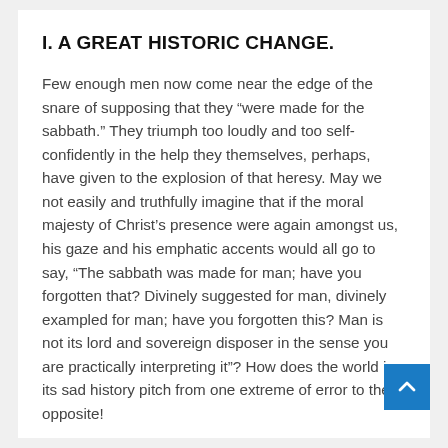I. A GREAT HISTORIC CHANGE.
Few enough men now come near the edge of the snare of supposing that they “were made for the sabbath.” They triumph too loudly and too self-confidently in the help they themselves, perhaps, have given to the explosion of that heresy. May we not easily and truthfully imagine that if the moral majesty of Christ’s presence were again amongst us, his gaze and his emphatic accents would all go to say, “The sabbath was made for man; have you forgotten that? Divinely suggested for man, divinely exampled for man; have you forgotten this? Man is not its lord and sovereign disposer in the sense you are practically interpreting it”? How does the world in its sad history pitch from one extreme of error to the opposite!